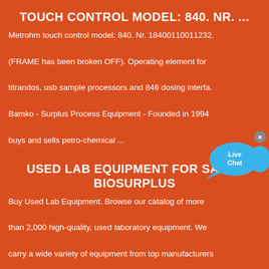TOUCH CONTROL MODEL: 840. NR. ...
Metrohm touch control model: 840. Nr. 18400110011232. (FRAME has been broken OFF). Operating element for titrandos, usb sample processors and 846 dosing interfa. Bamko - Surplus Process Equipment - Founded in 1994 buys and sells petro-chemical ...
[Figure (infographic): Live Chat button widget with speech bubble icon in blue, with a close (x) button in gray.]
USED LAB EQUIPMENT FOR SALE | BIOSURPLUS
Buy Used Lab Equipment. Browse our catalog of more than 2,000 high-quality, used laboratory equipment. We carry a wide variety of equipment from top manufacturers in the business including BD, Thermo, Perkin Elmer, Agilent, Eppendorf and many more. Shop Now.